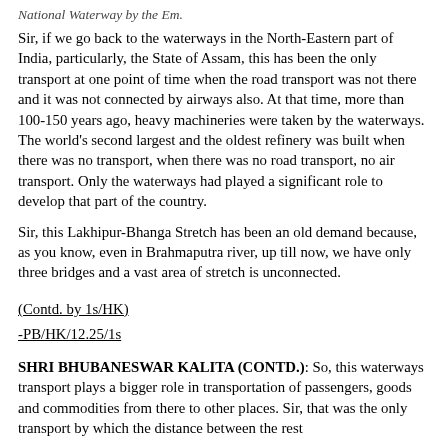National Waterway by the Em.
Sir, if we go back to the waterways in the North-Eastern part of India, particularly, the State of Assam, this has been the only transport at one point of time when the road transport was not there and it was not connected by airways also. At that time, more than 100-150 years ago, heavy machineries were taken by the waterways. The world's second largest and the oldest refinery was built when there was no transport, when there was no road transport, no air transport. Only the waterways had played a significant role to develop that part of the country.
Sir, this Lakhipur-Bhanga Stretch has been an old demand because, as you know, even in Brahmaputra river, up till now, we have only three bridges and a vast area of stretch is unconnected.
(Contd. by 1s/HK)
-PB/HK/12.25/1s
SHRI BHUBANESWAR KALITA (CONTD.): So, this waterways transport plays a bigger role in transportation of passengers, goods and commodities from there to other places. Sir, that was the only transport by which the distance between the rest